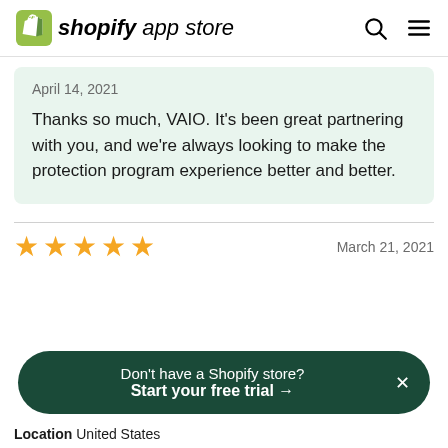shopify app store
April 14, 2021
Thanks so much, VAIO. It's been great partnering with you, and we're always looking to make the protection program experience better and better.
★★★★★  March 21, 2021
Don't have a Shopify store? Start your free trial →
Location  United States